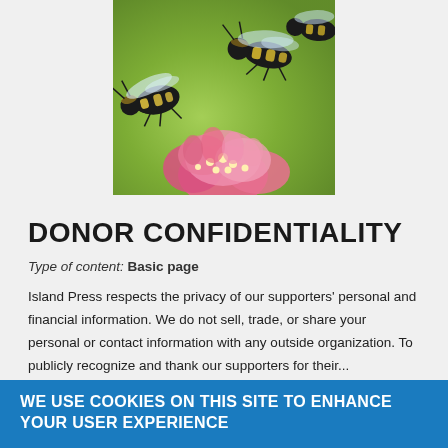[Figure (photo): Two bumblebees on pink milkweed flowers with green background]
DONOR CONFIDENTIALITY
Type of content: Basic page
Island Press respects the privacy of our supporters' personal and financial information. We do not sell, trade, or share your personal or contact information with any outside organization. To publicly recognize and thank our supporters for their...
WE USE COOKIES ON THIS SITE TO ENHANCE YOUR USER EXPERIENCE